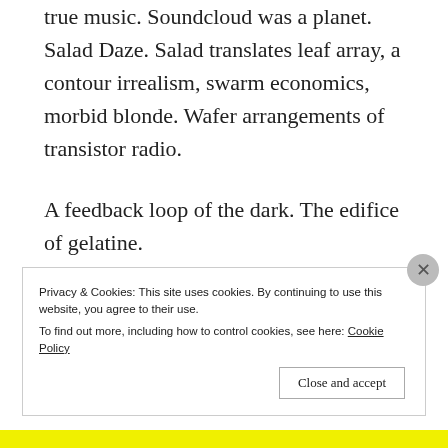true music. Soundcloud was a planet. Salad Daze. Salad translates leaf array, a contour irrealism, swarm economics, morbid blonde. Wafer arrangements of transistor radio.
A feedback loop of the dark. The edifice of gelatine.
Time goes off like a triangle.
Privacy & Cookies: This site uses cookies. By continuing to use this website, you agree to their use.
To find out more, including how to control cookies, see here: Cookie Policy
Close and accept